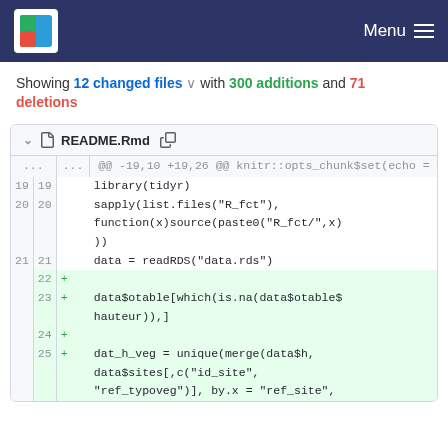rdlea — Menu
Showing 12 changed files with 300 additions and 71 deletions
README.Rmd
| old_ln | new_ln | marker | code |
| --- | --- | --- | --- |
| ... | ... |  | @@ -19,10 +19,26 @@ knitr::opts_chunk$set(echo = TRUE) |
| 19 | 19 |  | library(tidyr) |
| 20 | 20 |  | sapply(list.files("R_fct"),
  function(x)source(paste0("R_fct/",x)
  )) |
| 21 | 21 |  | data = readRDS("data.rds") |
|  | 22 | + |  |
|  | 23 | + | data$otable[which(is.na(data$otable$
  hauteur)),] |
|  | 24 | + |  |
|  | 25 | + | dat_h_veg = unique(merge(data$h,
  data$sites[,c("id_site",
  "ref_typoveg")], by.x = "ref_site", |